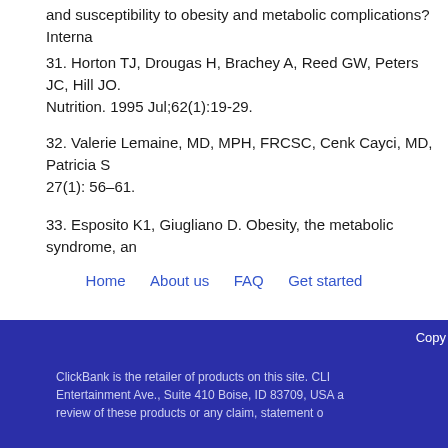and susceptibility to obesity and metabolic complications? Interna
31. Horton TJ, Drougas H, Brachey A, Reed GW, Peters JC, Hill JO. Nutrition. 1995 Jul;62(1):19-29.
32. Valerie Lemaine, MD, MPH, FRCSC, Cenk Cayci, MD, Patricia S 27(1): 56–61.
33. Esposito K1, Giugliano D. Obesity, the metabolic syndrome, an
Home   About us   FAQ   Get started
Copy
ClickBank is the retailer of products on this site. CLI Entertainment Ave., Suite 410 Boise, ID 83709, USA a review of these products or any claim, statement o